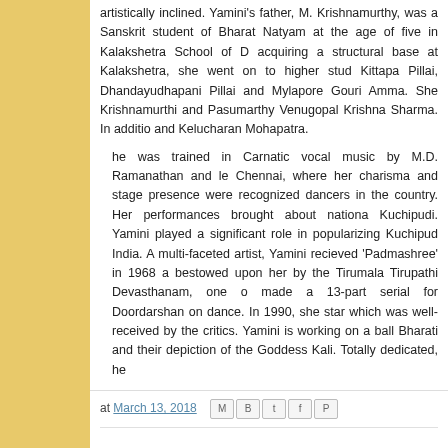artistically inclined. Yamini’s father, M. Krishnamurthy, was a Sanskrit student of Bharat Natyam at the age of five in Kalakshetra School of D acquiring a structural base at Kalakshetra, she went on to higher stud Kittapa Pillai, Dhandayudhapani Pillai and Mylapore Gouri Amma. She Krishnamurthi and Pasumarthy Venugopal Krishna Sharma. In additi and Kelucharan Mohapatra.
he was trained in Carnatic vocal music by M.D. Ramanathan and le Chennai, where her charisma and stage presence were recognized dancers in the country. Her performances brought about nationa Kuchipudi. Yamini played a significant role in popularizing Kuchipud India. A multi-faceted artist, Yamini recieved ‘Padmashree’ in 1968 a bestowed upon her by the Tirumala Tirupathi Devasthanam, one o made a 13-part serial for Doordarshan on dance. In 1990, she star which was well-received by the critics. Yamini is working on a ball Bharati and their depiction of the Goddess Kali. Totally dedicated, he
at March 13, 2018
No comments:
Post a Comment